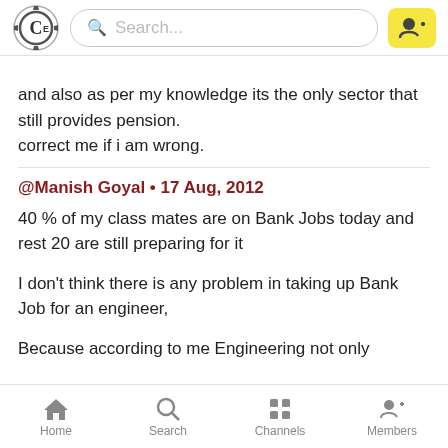[Figure (screenshot): App top navigation bar with logo, search box, and add user button]
and also as per my knowledge its the only sector that still provides pension.
correct me if i am wrong.
@Manish Goyal • 17 Aug, 2012
40 % of my class mates are on Bank Jobs today and rest 20 are still preparing for it
I don't think there is any problem in taking up Bank Job for an engineer,
Because according to me Engineering not only about doing technical things its about taking
[Figure (screenshot): App bottom navigation bar with Home, Search, Channels, Members icons]